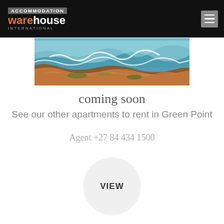ACCOMMODATION warehouse INTERNATIONAL
[Figure (photo): Aerial coastal photo showing rocky shoreline with turquoise ocean waves and orange/red rock formations]
coming soon
See our other apartments to rent in Green Point
Agent +27 84 434 1500
VIEW